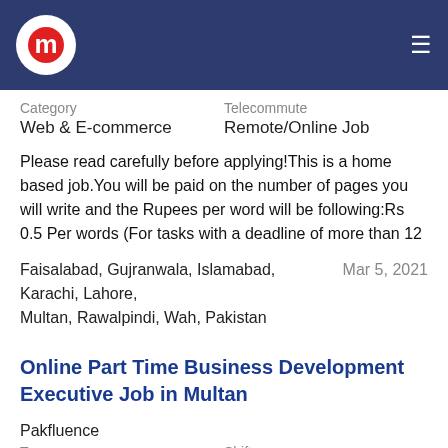Navigation bar with logo and menu
Category	Telecommute
Web & E-commerce	Remote/Online Job
Please read carefully before applying!This is a home based job.You will be paid on the number of pages you will write and the Rupees per word will be following:Rs 0.5 Per words (For tasks with a deadline of more than 12
Faisalabad, Gujranwala, Islamabad, Karachi, Lahore, Multan, Rawalpindi, Wah, Pakistan	Mar 5, 2021
Online Part Time Business Development Executive Job in Multan
Pakfluence
Type	Shift